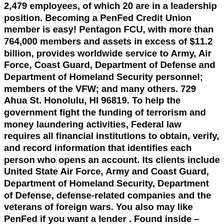Wallet Wisdom blog. Pentagon Federal Credit Union has 2,479 employees, of which 20 are in a leadership position. Becoming a PenFed Credit Union member is easy! Pentagon FCU, with more than 764,000 members and assets in excess of $11.2 billion, provides worldwide service to Army, Air Force, Coast Guard, Department of Defense and Department of Homeland Security personnel; members of the VFW; and many others. 729 Ahua St. Honolulu, HI 96819. To help the government fight the funding of terrorism and money laundering activities, Federal law requires all financial institutions to obtain, verify, and record information that identifies each person who opens an account. Its clients include United State Air Force, Army and Coast Guard, Department of Homeland Security, Department of Defense, defense-related companies and the veterans of foreign wars. You also may like PenFed if you want a lender . Found inside – Page 2Nevada's rate was only 3.6 percent in October , while Hawaii's was 3.3 ... T - Mobile's in Redmond and Pentagon Federal Credit Union's customer service ... Share Account. The content you are about to view is produced by a third party unaffiliated to Pentagon Federal Credit Union. Click for disclosures, 1-year term Rates and offers current as of August 18, 2021 and are subject to. Remember, you can